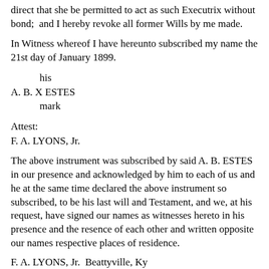direct that she be permitted to act as such Executrix without bond;  and I hereby revoke all former Wills by me made.
In Witness whereof I have hereunto subscribed my name the 21st day of January 1899.
his
A. B. X ESTES
mark
Attest:
F. A. LYONS, Jr.
The above instrument was subscribed by said A. B. ESTES in our presence and acknowledged by him to each of us and he at the same time declared the above instrument so subscribed, to be his last will and Testament, and we, at his request, have signed our names as witnesses hereto in his presence and the resence of each other and written opposite our names respective places of residence.
F. A. LYONS, Jr.  Beattyville, Ky
Frank A. LYONS Beattyville, Ky